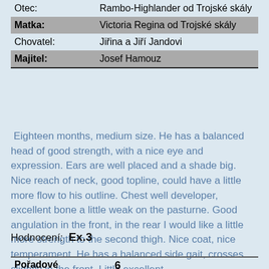| Otec: | Rambo-Highlander od Trojské skály |
| Matka: | Victoria Regina od Trojské skály |
| Chovatel: | Jiřina a Jiří Jandovi |
| Majitel: | Josef Hamouz |
Eighteen months, medium size. He has a balanced head of good strength, with a nice eye and expression. Ears are well placed and a shade big. Nice reach of neck, good topline, could have a little more flow to his outline. Chest well developer, excellent bone a little weak on the pasturne. Good angulation in the front, in the rear I would like a little more strength to the second thigh. Nice coat, nice temperament. He has a balanced side gait, crosses slightly in the front. Little excellent.
Hodnocení:  Ex.3
| Pořadové číslo: | 6 |
| Jméno psa: | GALILELO FREE |